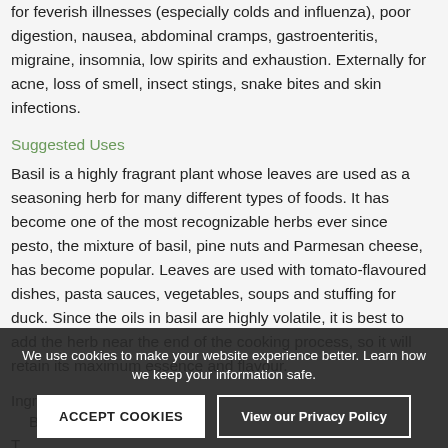for feverish illnesses (especially colds and influenza), poor digestion, nausea, abdominal cramps, gastroenteritis, migraine, insomnia, low spirits and exhaustion. Externally for acne, loss of smell, insect stings, snake bites and skin infections.
Suggested Uses
Basil is a highly fragrant plant whose leaves are used as a seasoning herb for many different types of foods. It has become one of the most recognizable herbs ever since pesto, the mixture of basil, pine nuts and Parmesan cheese, has become popular. Leaves are used with tomato-flavoured dishes, pasta sauces, vegetables, soups and stuffing for duck. Since the oils in basil are highly volatile, it is best to add the herb near the end of the cooking process, so it will retain its maximum essence and flavour.
Ingredients
Basil Leaf.
T...
We use cookies to make your website experience better. Learn how we keep your information safe.